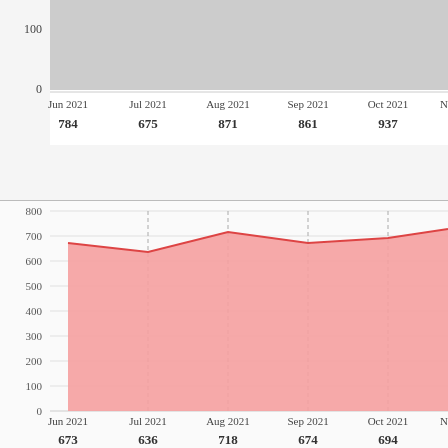[Figure (area-chart): Top chart (partial)]
[Figure (area-chart): Bottom chart]